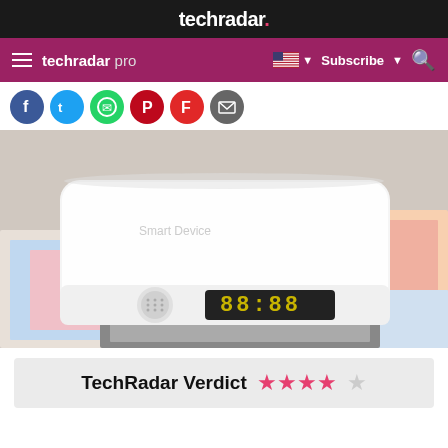techradar.
techradar pro  Subscribe
[Figure (other): Social share buttons: Facebook, Twitter, WhatsApp, Pinterest, Flipboard, Email]
[Figure (photo): White smart home device/media player box with speaker grille and digital clock display showing 88:88, resting on colorful magazines/books and a laptop]
TechRadar Verdict ★★★★☆